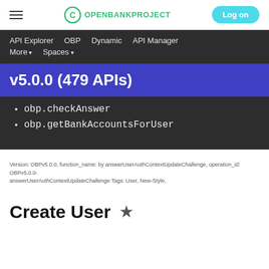OPENBANKPROJECT | Log on
API Explorer  OBP  Dynamic  API Manager  More ▾  Spaces ▾
v5.0.0 (479 APIs)
obp.checkAnswer
obp.getBankAccountsForUser
Version: OBPv5.0.0, function_name: by answerUserAuthContextUpdateChallenge, operation_id: OBPv5.0.0-answerUserAuthContextUpdateChallenge Tags: User, New-Style,
Create User ★